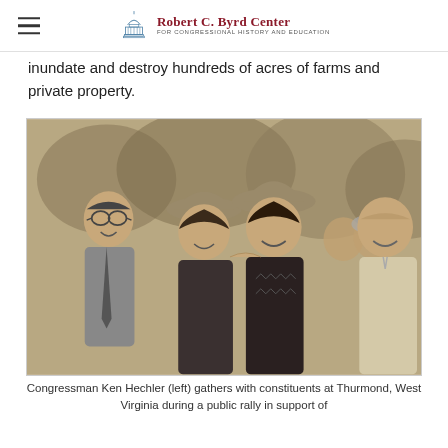Robert C. Byrd Center for Congressional History and Education
inundate and destroy hundreds of acres of farms and private property.
[Figure (photo): Black and white photograph of Congressman Ken Hechler (left) gathering with constituents at Thurmond, West Virginia during a public rally. Several people are shown smiling outdoors, including a man with glasses on the left and an older man on the right.]
Congressman Ken Hechler (left) gathers with constituents at Thurmond, West Virginia during a public rally in support of